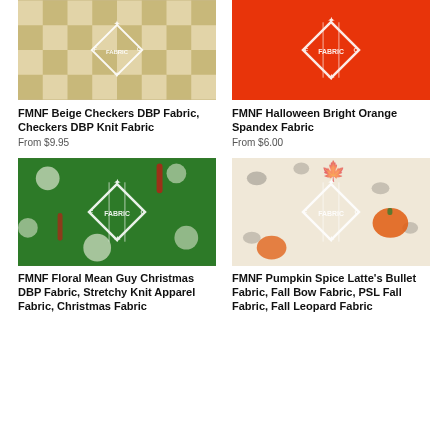[Figure (photo): FMNF Beige checkerboard DBP fabric close-up with brand watermark logo]
[Figure (photo): FMNF Halloween Bright Orange Spandex Fabric close-up with brand watermark logo]
FMNF Beige Checkers DBP Fabric, Checkers DBP Knit Fabric
FMNF Halloween Bright Orange Spandex Fabric
From $9.95
From $6.00
[Figure (photo): FMNF Floral Mean Guy Christmas DBP Fabric with flowers, Grinch character, candy canes and brand watermark logo]
[Figure (photo): FMNF Pumpkin Spice Latte Bullet Fabric with pumpkins, leopard print, fall leaves and brand watermark logo]
FMNF Floral Mean Guy Christmas DBP Fabric, Stretchy Knit Apparel Fabric, Christmas Fabric
FMNF Pumpkin Spice Latte's Bullet Fabric, Fall Bow Fabric, PSL Fall Fabric, Fall Leopard Fabric